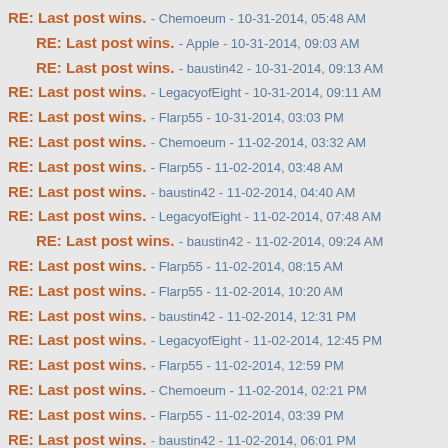RE: Last post wins. - Chemoeum - 10-31-2014, 05:48 AM
RE: Last post wins. - Apple - 10-31-2014, 09:03 AM
RE: Last post wins. - baustin42 - 10-31-2014, 09:13 AM
RE: Last post wins. - LegacyofEight - 10-31-2014, 09:11 AM
RE: Last post wins. - Flarp55 - 10-31-2014, 03:03 PM
RE: Last post wins. - Chemoeum - 11-02-2014, 03:32 AM
RE: Last post wins. - Flarp55 - 11-02-2014, 03:48 AM
RE: Last post wins. - baustin42 - 11-02-2014, 04:40 AM
RE: Last post wins. - LegacyofEight - 11-02-2014, 07:48 AM
RE: Last post wins. - baustin42 - 11-02-2014, 09:24 AM
RE: Last post wins. - Flarp55 - 11-02-2014, 08:15 AM
RE: Last post wins. - Flarp55 - 11-02-2014, 10:20 AM
RE: Last post wins. - baustin42 - 11-02-2014, 12:31 PM
RE: Last post wins. - LegacyofEight - 11-02-2014, 12:45 PM
RE: Last post wins. - Flarp55 - 11-02-2014, 12:59 PM
RE: Last post wins. - Chemoeum - 11-02-2014, 02:21 PM
RE: Last post wins. - Flarp55 - 11-02-2014, 03:39 PM
RE: Last post wins. - baustin42 - 11-02-2014, 06:01 PM
RE: Last post wins. - Chemoeum - 11-03-2014, 01:33 AM
RE: Last post wins. - Flarp55 - 11-03-2014, 02:13 AM
RE: Last post wins. - Chemoeum - 11-03-2014, 11:08 AM